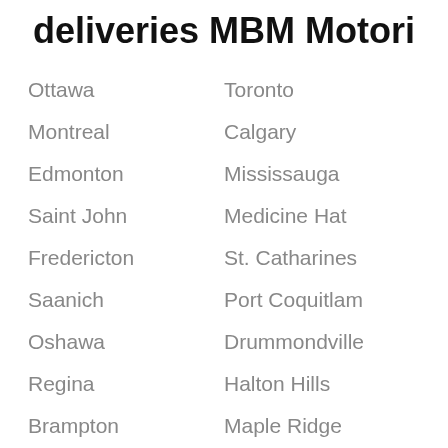deliveries MBM Motori
Ottawa
Toronto
Montreal
Calgary
Edmonton
Mississauga
Saint John
Medicine Hat
Fredericton
St. Catharines
Saanich
Port Coquitlam
Oshawa
Drummondville
Regina
Halton Hills
Brampton
Maple Ridge